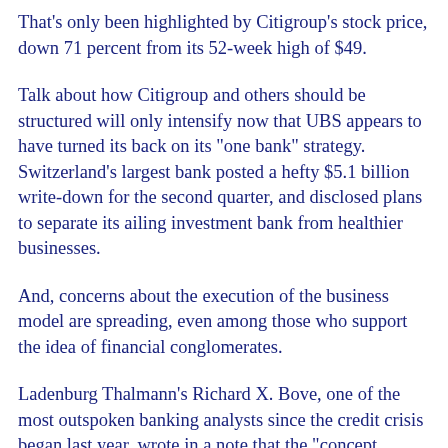That's only been highlighted by Citigroup's stock price, down 71 percent from its 52-week high of $49.
Talk about how Citigroup and others should be structured will only intensify now that UBS appears to have turned its back on its "one bank" strategy. Switzerland's largest bank posted a hefty $5.1 billion write-down for the second quarter, and disclosed plans to separate its ailing investment bank from healthier businesses.
And, concerns about the execution of the business model are spreading, even among those who support the idea of financial conglomerates.
Ladenburg Thalmann's Richard X. Bove, one of the most outspoken banking analysts since the credit crisis began last year, wrote in a note that the "concept behind the creation of JPMorgan Chase has broken down."
Bove said JPMorgan's acquisition of Chicago's Bank